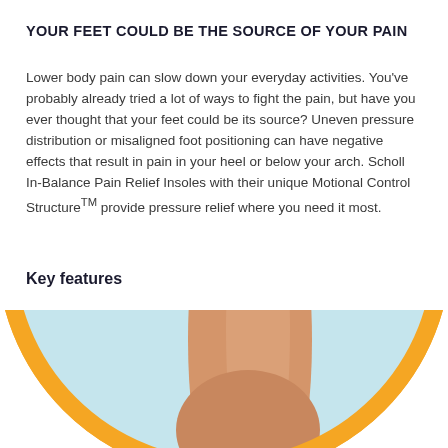YOUR FEET COULD BE THE SOURCE OF YOUR PAIN
Lower body pain can slow down your everyday activities. You've probably already tried a lot of ways to fight the pain, but have you ever thought that your feet could be its source? Uneven pressure distribution or misaligned foot positioning can have negative effects that result in pain in your heel or below your arch. Scholl In-Balance Pain Relief Insoles with their unique Motional Control StructureTM provide pressure relief where you need it most.
Key features
[Figure (photo): A circular image with an orange border showing a close-up of a human ankle and heel against a light blue background, partially cropped at the bottom of the page.]